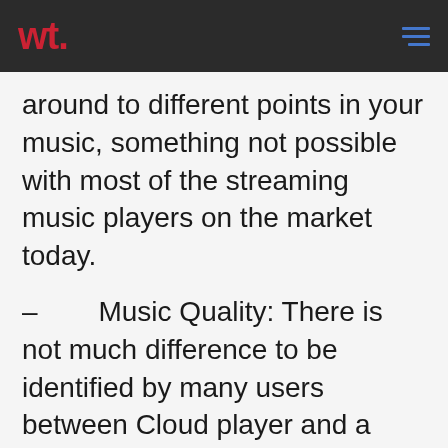wt.
around to different points in your music, something not possible with most of the streaming music players on the market today.
– Music Quality: There is not much difference to be identified by many users between Cloud player and a streaming service like Pandora.
Features: Some handy features